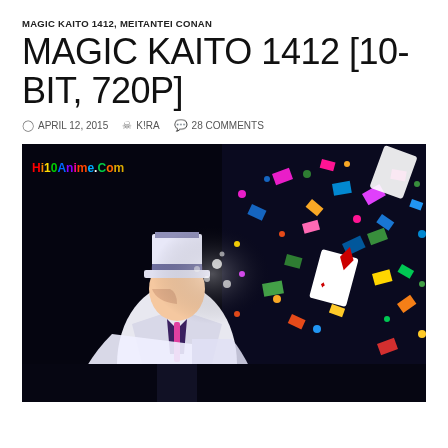MAGIC KAITO 1412, MEITANTEI CONAN
MAGIC KAITO 1412 [10-BIT, 720P]
APRIL 12, 2015  K!RA  28 COMMENTS
[Figure (illustration): Anime screenshot from Magic Kaito 1412 showing a character in a white suit and top hat surrounded by colorful confetti and playing cards exploding outward on a dark background. Watermark reads Hi10Anime.Com in multicolor text.]